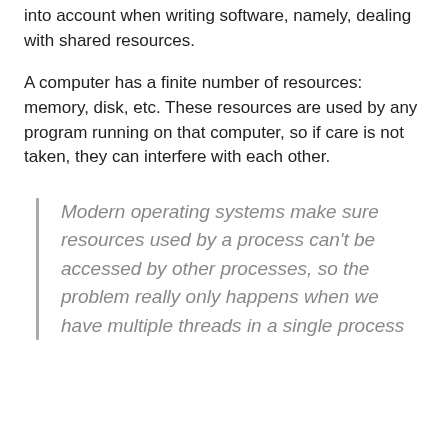into account when writing software, namely, dealing with shared resources.
A computer has a finite number of resources: memory, disk, etc. These resources are used by any program running on that computer, so if care is not taken, they can interfere with each other.
Modern operating systems make sure resources used by a process can't be accessed by other processes, so the problem really only happens when we have multiple threads in a single process